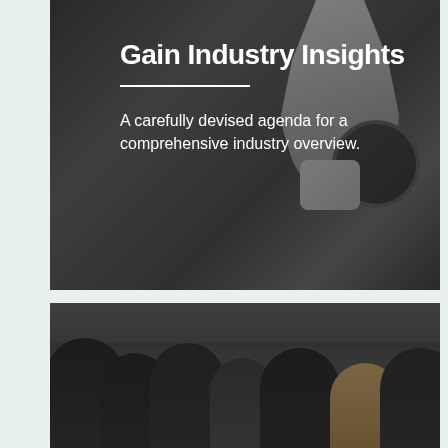[Figure (photo): Dark-toned photo of a robotic arm/hand (white and black mechanical robot), overlaid with dark semi-transparent layer. Text overlaid on the image.]
Gain Industry Insights
A carefully devised agenda for a comprehensive industry overview.
[Figure (photo): Dark-toned photo of an audience/crowd of people looking upward in what appears to be an exhibition hall or conference venue with ceiling lights visible.]